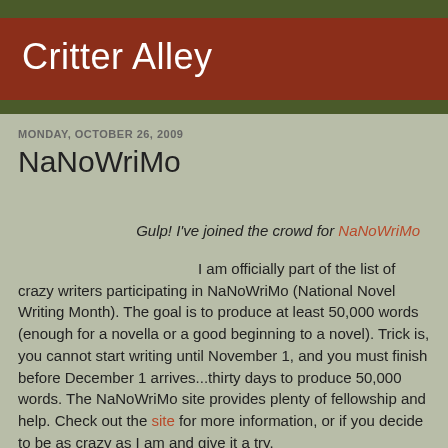Critter Alley
MONDAY, OCTOBER 26, 2009
NaNoWriMo
Gulp! I've joined the crowd for NaNoWriMo
I am officially part of the list of crazy writers participating in NaNoWriMo (National Novel Writing Month). The goal is to produce at least 50,000 words (enough for a novella or a good beginning to a novel). Trick is, you cannot start writing until November 1, and you must finish before December 1 arrives...thirty days to produce 50,000 words. The NaNoWriMo site provides plenty of fellowship and help. Check out the site for more information, or if you decide to be as crazy as I am and give it a try.